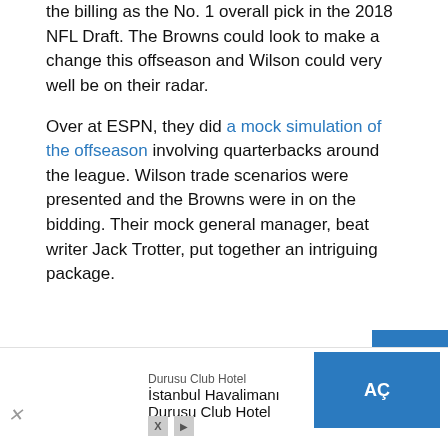the billing as the No. 1 overall pick in the 2018 NFL Draft. The Browns could look to make a change this offseason and Wilson could very well be on their radar.
Over at ESPN, they did a mock simulation of the offseason involving quarterbacks around the league. Wilson trade scenarios were presented and the Browns were in on the bidding. Their mock general manager, beat writer Jack Trotter, put together an intriguing package.
[Figure (other): Advertisement banner at the bottom: Durusu Club Hotel - Istanbul Havalimanı Durusu Club Hotel, with an AC (open) button in blue, close X button, and media icons.]